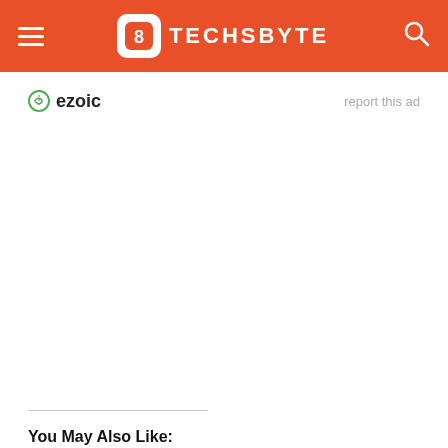TECHSBYTE
[Figure (logo): Ezoic logo with green circle icon and 'ezoic' text in dark]
report this ad
You May Also Like: